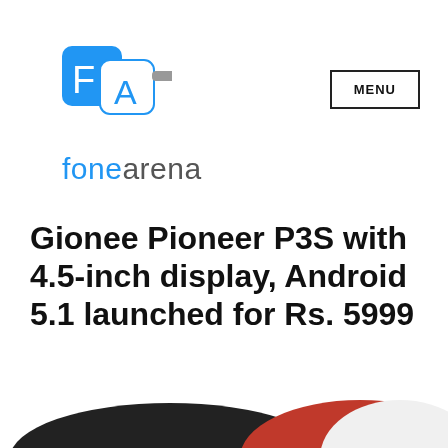[Figure (logo): FoneArena logo: blue square icon with white 'F' and 'A' letters, with a grey horizontal bar extending to the right]
MENU
fonearena
Gionee Pioneer P3S with 4.5-inch display, Android 5.1 launched for Rs. 5999
[Figure (photo): Bottom portion of Gionee Pioneer P3S smartphones showing the bottom edge of the devices]